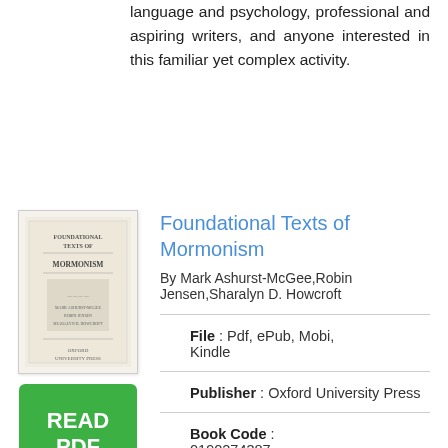language and psychology, professional and aspiring writers, and anyone interested in this familiar yet complex activity.
[Figure (illustration): Book cover thumbnail for Foundational Texts of Mormonism, showing a cream/beige colored classic book cover design with decorative text]
[Figure (other): Green READ PDF button]
Foundational Texts of Mormonism
By Mark Ashurst-McGee,Robin Jensen,Sharalyn D. Howcroft
File : Pdf, ePub, Mobi, Kindle
Publisher : Oxford University Press
Book Code : 0190274387
Total Page : 41...